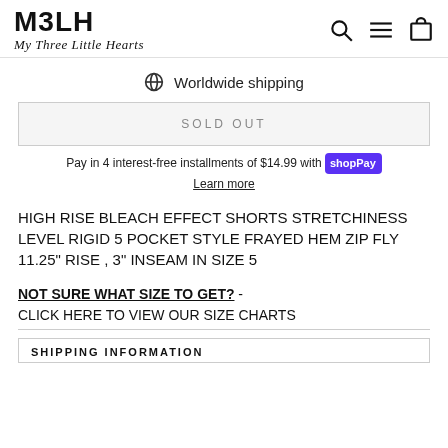[Figure (logo): M3LH My Three Little Hearts logo with bold stylized text and cursive tagline]
Worldwide shipping
SOLD OUT
Pay in 4 interest-free installments of $14.99 with Shop Pay
Learn more
HIGH RISE BLEACH EFFECT SHORTS STRETCHINESS LEVEL RIGID 5 POCKET STYLE FRAYED HEM ZIP FLY 11.25" RISE , 3" INSEAM IN SIZE 5
NOT SURE WHAT SIZE TO GET? - CLICK HERE TO VIEW OUR SIZE CHARTS
SHIPPING INFORMATION